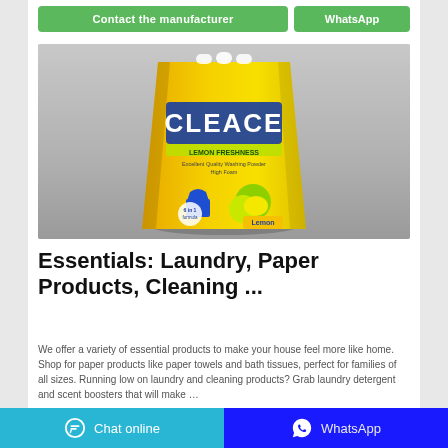[Figure (screenshot): Two buttons: 'Contact the manufacturer' (green) and 'WhatsApp' (green)]
[Figure (photo): Product photo of a yellow Cleace Lemon Freshness laundry detergent powder bag]
Essentials: Laundry, Paper Products, Cleaning ...
We offer a variety of essential products to make your house feel more like home. Shop for paper products like paper towels and bath tissues, perfect for families of all sizes. Running low on laundry and cleaning products? Grab laundry detergent and scent boosters that will make …
Chat online   WhatsApp